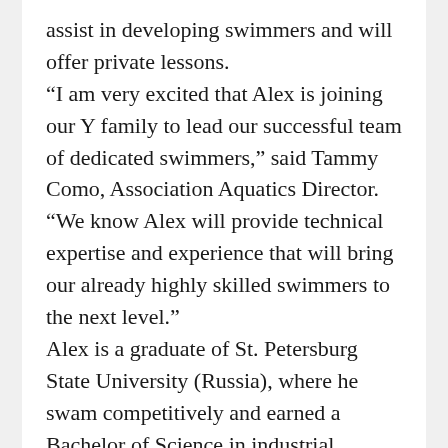assist in developing swimmers and will offer private lessons.
“I am very excited that Alex is joining our Y family to lead our successful team of dedicated swimmers,” said Tammy Como, Association Aquatics Director. “We know Alex will provide technical expertise and experience that will bring our already highly skilled swimmers to the next level.”
Alex is a graduate of St. Petersburg State University (Russia), where he swam competitively and earned a Bachelor of Science in industrial psychology. He later